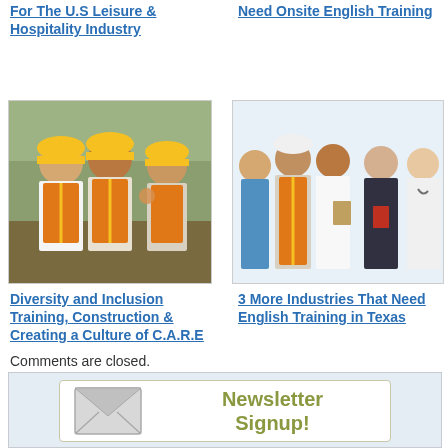For The U.S Leisure & Hospitality Industry
Need Onsite English Training
[Figure (photo): Three construction workers in yellow hard hats and orange safety vests talking at a job site]
[Figure (photo): Group of five workers from different industries including healthcare, construction, and office workers]
Diversity and Inclusion Training, Construction & Creating a Culture of C.A.R.E
3 More Industries That Need English Training in Texas
Comments are closed.
[Figure (other): Newsletter Signup button with envelope icon]